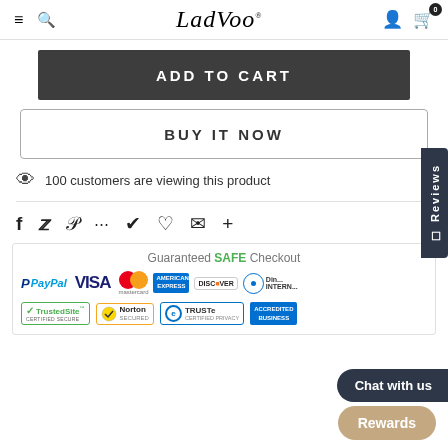LadVoo
ADD TO CART
BUY IT NOW
100 customers are viewing this product
[Figure (other): Social share icons: Facebook, Twitter, Pinterest, Grid/Apps, Bookmark, Heart, Email, Plus]
Guaranteed SAFE Checkout
[Figure (other): Payment method logos: PayPal, VISA, Mastercard, American Express, Discover, Diners Club International]
[Figure (other): Security badges: TrustedSite Certified Secure, Norton Secured, TRUSTe Certified Privacy, Accredited Business]